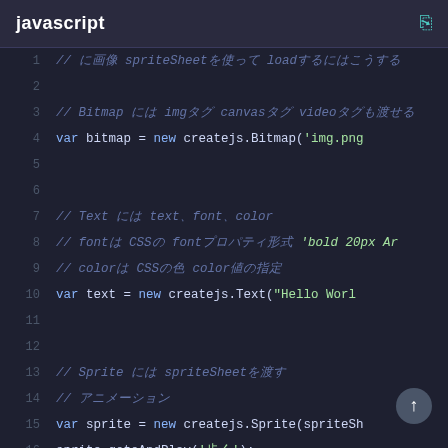javascript
[Figure (screenshot): JavaScript code editor screenshot showing CreateJS code examples for Bitmap, Text, and Sprite objects with Japanese comments and line numbers 1-21]
Code snippet showing createjs.Bitmap, createjs.Text, and createjs.Sprite usage with comments